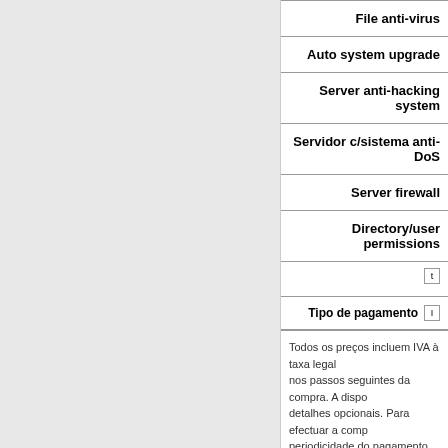[Figure (other): Gray left panel background area]
File anti-virus
Auto system upgrade
Server anti-hacking system
Servidor c/sistema anti-DoS
Server firewall
Directory/user permissions
Tipo de pagamento
Todos os preços incluem IVA à taxa legal nos passos seguintes da compra. A disponibilidade de detalhes opcionais. Para efectuar a compra periodicidade do pagamento que mais lhe pagamento' no inicio ou no final das colu
HOME | CONTACT US | SUPPORT | DATACENTER | A
Copyright © 1999 - 2003 YourDotStore.com, All rights reserved. Property of Lefatech International Inc.